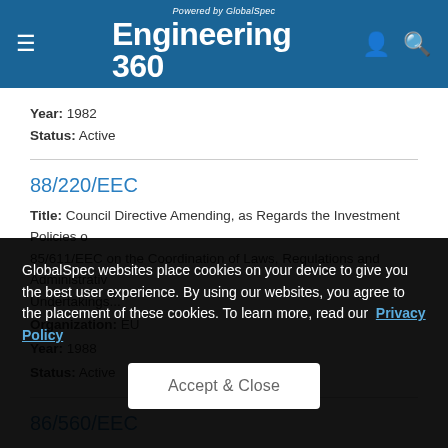Engineering 360 — Powered by GlobalSpec
Year: 1982
Status: Active
88/220/EEC
Title: Council Directive Amending, as Regards the Investment Policies of 85/611/EEC on the Coordination of Laws, Regulations and Administrative Undertakings...
Organization: EU
Year: 1988
Status: Active
86/560/EEC
GlobalSpec websites place cookies on your device to give you the best user experience. By using our websites, you agree to the placement of these cookies. To learn more, read our Privacy Policy
Accept & Close